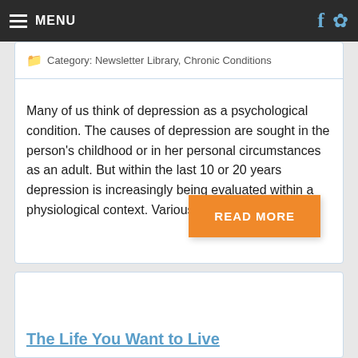MENU
Category: Newsletter Library, Chronic Conditions
Many of us think of depression as a psychological condition. The causes of depression are sought in the person's childhood or in her personal circumstances as an adult. But within the last 10 or 20 years depression is increasingly being evaluated within a physiological context. Various disease states
The Life You Want to Live